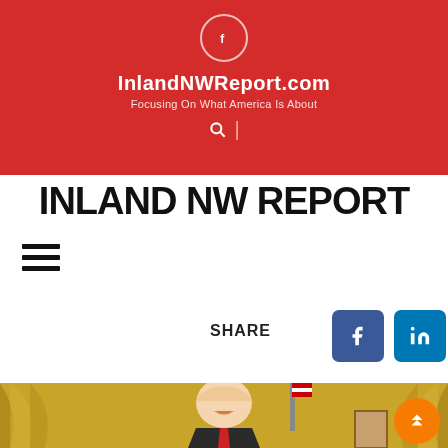InlandNWReport.com — Focusing On What America Is About
INLAND NW REPORT
[Figure (screenshot): Hamburger/menu icon — three horizontal black lines]
SHARE
[Figure (screenshot): Social share buttons: Facebook (dark blue), LinkedIn (medium blue), Twitter (light blue)]
[Figure (photo): Photo of a person speaking in an ornate room with gold curtains, American flag, and a painting on the wall. An orange back-to-top scroll button is overlaid in the bottom-right corner.]